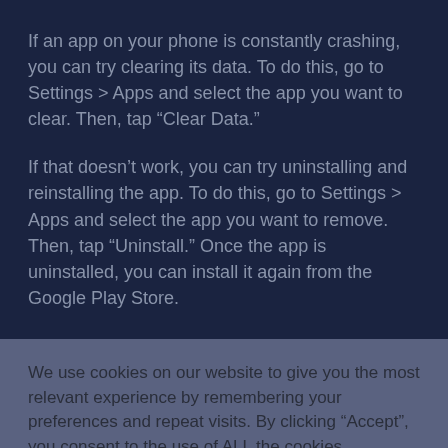If an app on your phone is constantly crashing, you can try clearing its data. To do this, go to Settings > Apps and select the app you want to clear. Then, tap “Clear Data.”
If that doesn’t work, you can try uninstalling and reinstalling the app. To do this, go to Settings > Apps and select the app you want to remove. Then, tap “Uninstall.” Once the app is uninstalled, you can install it again from the Google Play Store.
We use cookies on our website to give you the most relevant experience by remembering your preferences and repeat visits. By clicking “Accept”, you consent to the use of ALL the cookies.
Do not sell my personal information.
Cookie Settings
Accept